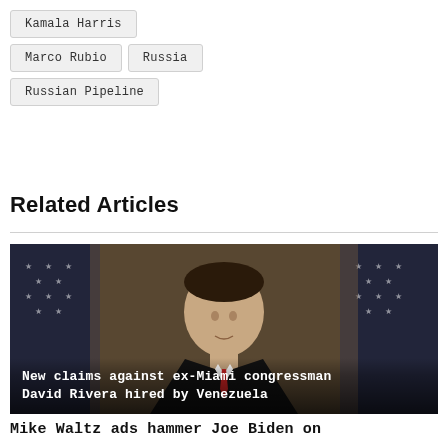Kamala Harris
Marco Rubio
Russia
Russian Pipeline
Related Articles
[Figure (photo): Man in suit standing in front of American flags]
New claims against ex-Miami congressman David Rivera hired by Venezuela
Mike Waltz ads hammer Joe Biden on